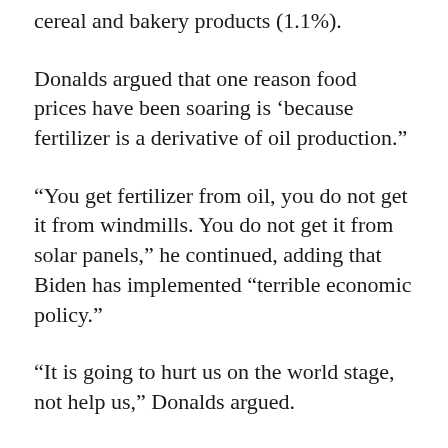cereal and bakery products (1.1%).
Donalds argued that one reason food prices have been soaring is ‘because fertilizer is a derivative of oil production.”
“You get fertilizer from oil, you do not get it from windmills. You do not get it from solar panels,” he continued, adding that Biden has implemented “terrible economic policy.”
“It is going to hurt us on the world stage, not help us,” Donalds argued.
#Joe Biden